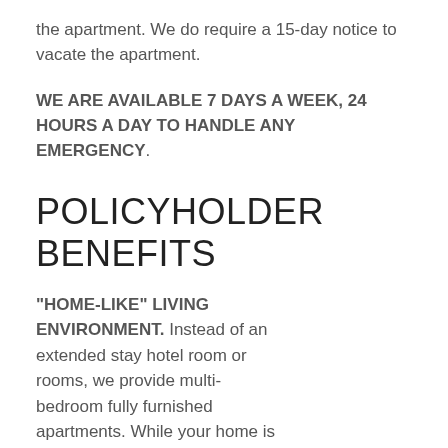the apartment. We do require a 15-day notice to vacate the apartment.
WE ARE AVAILABLE 7 DAYS A WEEK, 24 HOURS A DAY TO HANDLE ANY EMERGENCY.
POLICYHOLDER BENEFITS
“HOME-LIKE” LIVING ENVIRONMENT. Instead of an extended stay hotel room or rooms, we provide multi-bedroom fully furnished apartments. While your home is being repaired, our furnished apartment is the best